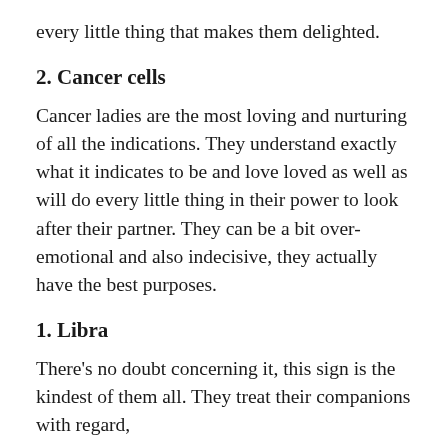every little thing that makes them delighted.
2. Cancer cells
Cancer ladies are the most loving and nurturing of all the indications. They understand exactly what it indicates to be and love loved as well as will do every little thing in their power to look after their partner. They can be a bit over-emotional and also indecisive, they actually have the best purposes.
1. Libra
There’s no doubt concerning it, this sign is the kindest of them all. They treat their companions with regard,